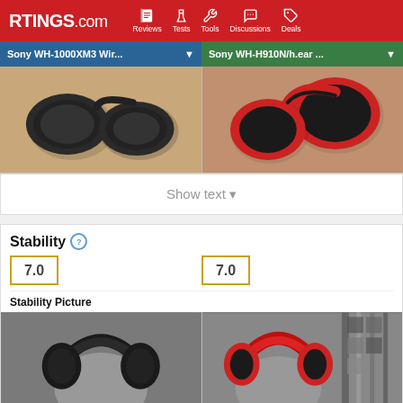RTINGS.com | Reviews | Tests | Tools | Discussions | Deals
Sony WH-1000XM3 Wir... vs Sony WH-H910N/h.ear ...
[Figure (photo): Two product comparison photos: left shows Sony WH-1000XM3 black headphones folded on a wooden surface; right shows Sony WH-H910N red/black headphones folded on a wooden surface]
Show text ▼
Stability
7.0 (left) and 7.0 (right) scores
Stability Picture
[Figure (photo): Two stability test photos: left shows Sony WH-1000XM3 black headphones on a gray head form; right shows Sony WH-H910N red headphones on a gray head form with blurred background]